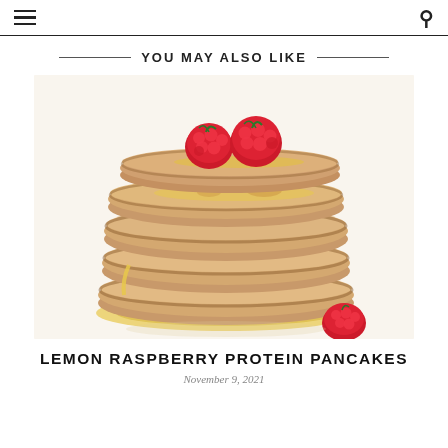YOU MAY ALSO LIKE
[Figure (photo): A tall stack of lemon raspberry protein pancakes topped with fresh raspberries and drizzled with golden syrup, on a white background.]
LEMON RASPBERRY PROTEIN PANCAKES
November 9, 2021